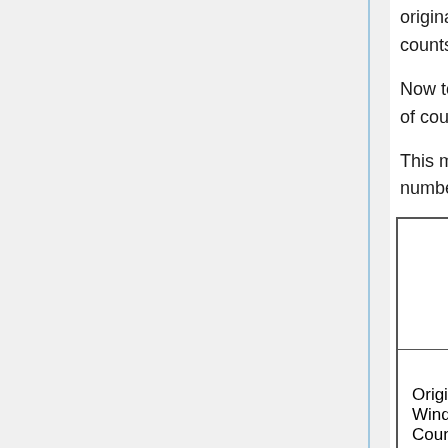original window's number of counts and the expanded window's number of counts.
Now to propagate this error we must divide this number by the original number of counts.
This method was repeated for the next set of runs that make the data file. The numbers are in a table below.
|  | 0 <t< 300 sec | 730 < t < 10... sec |
| --- | --- | --- |
| Original Window Counts | 880200 | 716200 |
| Original Window |  |  |